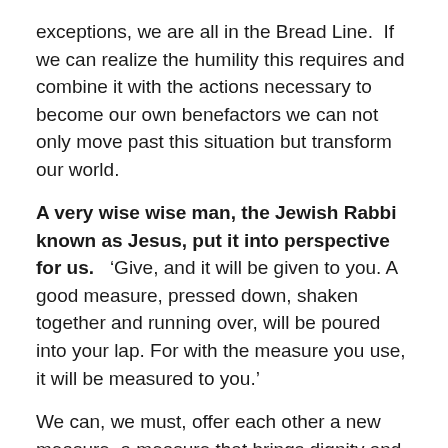exceptions, we are all in the Bread Line.  If we can realize the humility this requires and combine it with the actions necessary to become our own benefactors we can not only move past this situation but transform our world.
A very wise wise man, the Jewish Rabbi known as Jesus, put it into perspective for us.   ‘Give, and it will be given to you. A good measure, pressed down, shaken together and running over, will be poured into your lap. For with the measure you use, it will be measured to you.’
We can, we must, offer each other a new measure, a measure that brings dignity and opportunity to every person on our planet.  Not in years, but now, today.  The Value of money depends on who owns it.  Money has no Value if you don’t have any.